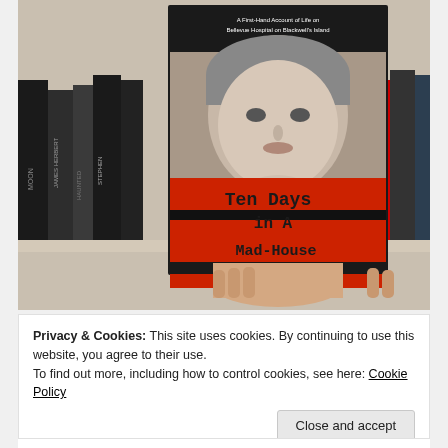[Figure (photo): A hand holding the book 'Ten Days in A Mad-House' by Nellie Bly in front of a bookshelf. The book cover has a black-and-white portrait of a young woman on the upper half and bold red background on the lower half with the title in black typewriter font.]
Privacy & Cookies: This site uses cookies. By continuing to use this website, you agree to their use.
To find out more, including how to control cookies, see here: Cookie Policy
Close and accept